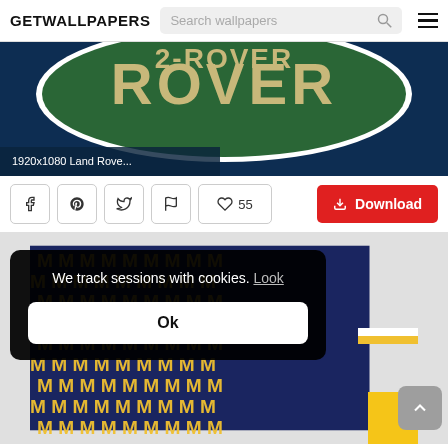GETWALLPAPERS  Search wallpapers
[Figure (screenshot): Land Rover logo close-up on dark blue background showing green oval badge with 'ROVER' text in cream/gold lettering]
1920x1080 Land Rove...
♥ 55
↓ Download
[Figure (photo): Michigan Wolverines pattern wallpaper with repeating yellow M letters on dark navy blue background]
We track sessions with cookies. Look
Ok